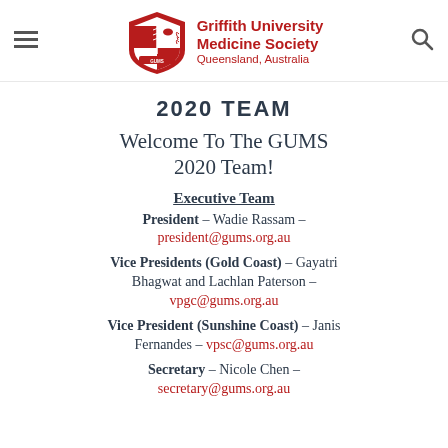Griffith University Medicine Society — Queensland, Australia
2020 TEAM
Welcome To The GUMS 2020 Team!
Executive Team
President – Wadie Rassam – president@gums.org.au
Vice Presidents (Gold Coast) – Gayatri Bhagwat and Lachlan Paterson – vpgc@gums.org.au
Vice President (Sunshine Coast) – Janis Fernandes – vpsc@gums.org.au
Secretary – Nicole Chen – secretary@gums.org.au